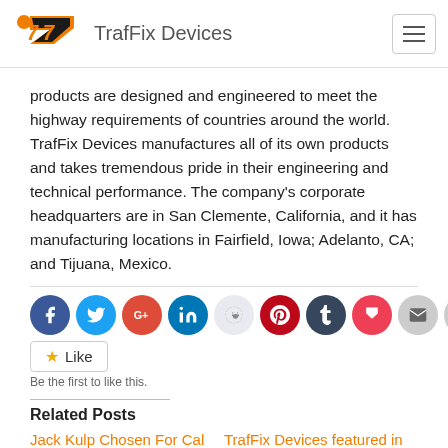TrafFix Devices
products are designed and engineered to meet the highway requirements of countries around the world. TrafFix Devices manufactures all of its own products and takes tremendous pride in their engineering and technical performance. The company's corporate headquarters are in San Clemente, California, and it has manufacturing locations in Fairfield, Iowa; Adelanto, CA; and Tijuana, Mexico.
[Figure (infographic): Row of social media sharing icons: Facebook, Twitter, Google+, LinkedIn, Reddit, Pinterest, Tumblr, Pocket, Email, Print]
Like
Be the first to like this.
Related Posts
Jack Kulp Chosen For Cal   TrafFix Devices featured in